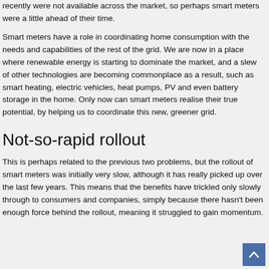recently were not available across the market, so perhaps smart meters were a little ahead of their time.
Smart meters have a role in coordinating home consumption with the needs and capabilities of the rest of the grid. We are now in a place where renewable energy is starting to dominate the market, and a slew of other technologies are becoming commonplace as a result, such as smart heating, electric vehicles, heat pumps, PV and even battery storage in the home. Only now can smart meters realise their true potential, by helping us to coordinate this new, greener grid.
Not-so-rapid rollout
This is perhaps related to the previous two problems, but the rollout of smart meters was initially very slow, although it has really picked up over the last few years. This means that the benefits have trickled only slowly through to consumers and companies, simply because there hasn't been enough force behind the rollout, meaning it struggled to gain momentum.